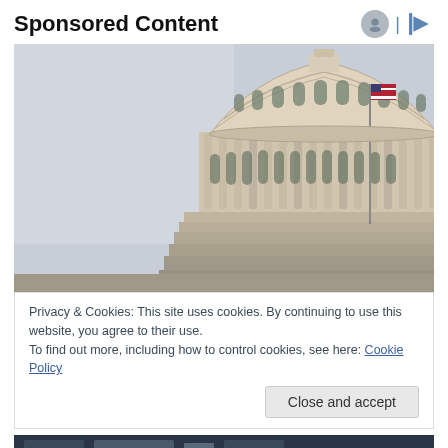Sponsored Content
[Figure (photo): Close-up photograph of the United States Capitol Building dome with ornate neoclassical architecture and an American flag on a flagpole, against a grey sky.]
Privacy & Cookies: This site uses cookies. By continuing to use this website, you agree to their use.
To find out more, including how to control cookies, see here: Cookie Policy
Close and accept
[Figure (photo): Partial view of an interior scene at the bottom of the page, partially cropped.]